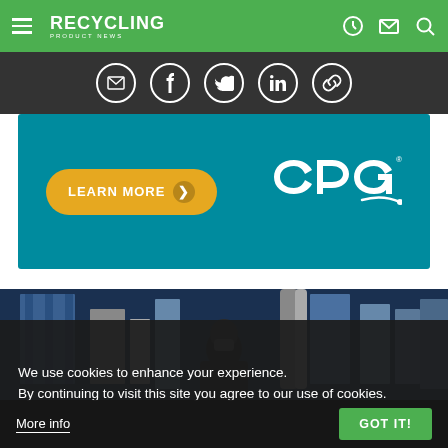RECYCLING PRODUCT NEWS
[Figure (infographic): Social share icons: email, Facebook, Twitter, LinkedIn, link]
[Figure (infographic): Advertisement banner with 'LEARN MORE' button and CPG logo on teal background]
[Figure (photo): Industrial facility photo with person wearing mask]
We use cookies to enhance your experience. By continuing to visit this site you agree to our use of cookies.
More info
GOT IT!